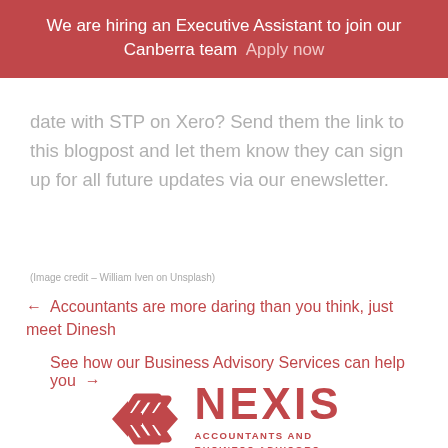We are hiring an Executive Assistant to join our Canberra team  Apply now
date with STP on Xero? Send them the link to this blogpost and let them know they can sign up for all future updates via our enewsletter.
(Image credit – William Iven on Unsplash)
← Accountants are more daring than you think, just meet Dinesh
See how our Business Advisory Services can help you →
[Figure (logo): Nexis Accountants and Business Advisors logo with geometric diamond/arrow icon in red and company name]